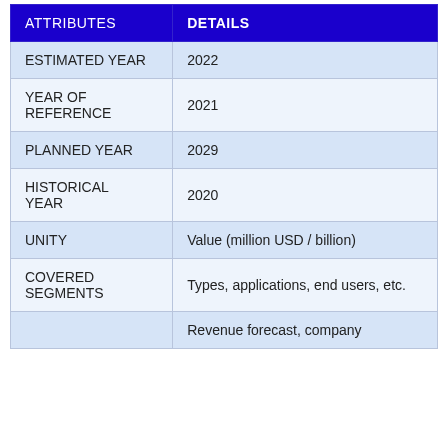| ATTRIBUTES | DETAILS |
| --- | --- |
| ESTIMATED YEAR | 2022 |
| YEAR OF REFERENCE | 2021 |
| PLANNED YEAR | 2029 |
| HISTORICAL YEAR | 2020 |
| UNITY | Value (million USD / billion) |
| COVERED SEGMENTS | Types, applications, end users, etc. |
|  | Revenue forecast, company |